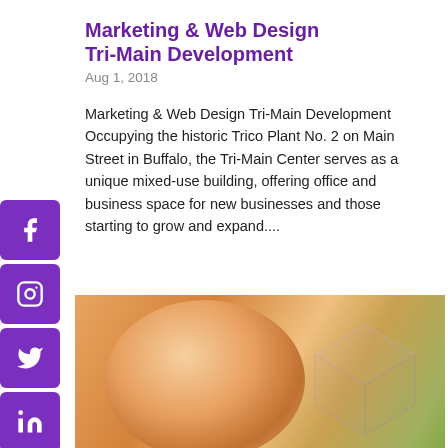Marketing & Web Design Tri-Main Development
Aug 1, 2018
Marketing & Web Design Tri-Main Development Occupying the historic Trico Plant No. 2 on Main Street in Buffalo, the Tri-Main Center serves as a unique mixed-use building, offering office and business space for new businesses and those starting to grow and expand....
[Figure (photo): Close-up photo of a smiling young girl with curly red/orange hair, with a translucent geometric 3D cube logo overlaid on the right side of the image.]